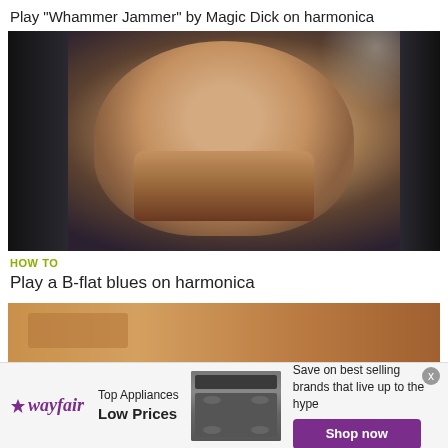Play "Whammer Jammer" by Magic Dick on harmonica
[Figure (photo): Man playing harmonica inside a car, close-up of face and hands holding a harmonica to his mouth]
HOW TO
Play a B-flat blues on harmonica
[Figure (photo): Partial view of a second video thumbnail, appears to show a baked item or food]
[Figure (infographic): Wayfair advertisement banner: Top Appliances Low Prices, Save on best selling brands that live up to the hype, Shop now button]